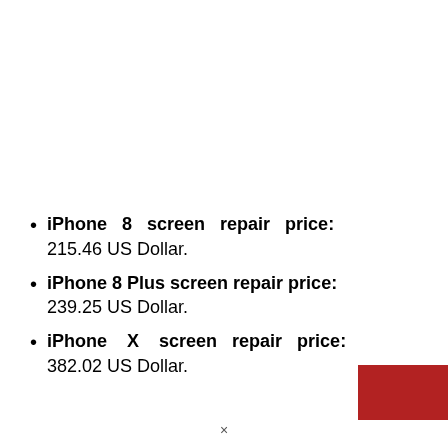iPhone 8 screen repair price: 215.46 US Dollar.
iPhone 8 Plus screen repair price: 239.25 US Dollar.
iPhone X screen repair price: 382.02 US Dollar.